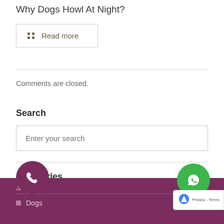Why Dogs Howl At Night?
Read more
Comments are closed.
Search
Enter your search
Categories
.s
Dogs